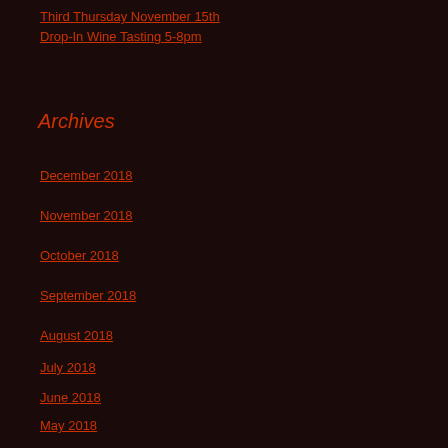Third Thursday November 15th
Drop-In Wine Tasting 5-8pm
Archives
December 2018
November 2018
October 2018
September 2018
August 2018
July 2018
June 2018
May 2018
April 2018